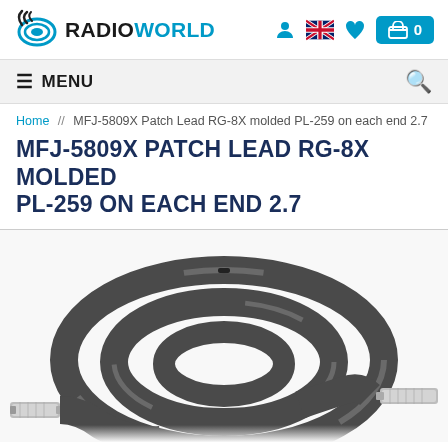RadioWorld
≡ MENU
Home // MFJ-5809X Patch Lead RG-8X molded PL-259 on each end 2.7
MFJ-5809X PATCH LEAD RG-8X MOLDED PL-259 ON EACH END 2.7
[Figure (photo): Photo of a coiled dark gray RG-8X coaxial cable with silver PL-259 connectors on each end, shown coiled on a white background.]